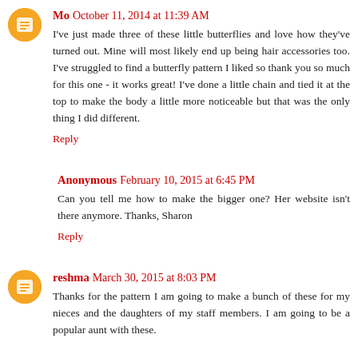Mo  October 11, 2014 at 11:39 AM
I've just made three of these little butterflies and love how they've turned out. Mine will most likely end up being hair accessories too. I've struggled to find a butterfly pattern I liked so thank you so much for this one - it works great! I've done a little chain and tied it at the top to make the body a little more noticeable but that was the only thing I did different.
Reply
Anonymous  February 10, 2015 at 6:45 PM
Can you tell me how to make the bigger one? Her website isn't there anymore. Thanks, Sharon
Reply
reshma  March 30, 2015 at 8:03 PM
Thanks for the pattern I am going to make a bunch of these for my nieces and the daughters of my staff members. I am going to be a popular aunt with these.